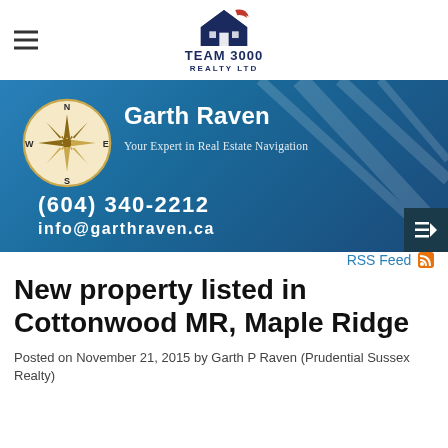[Figure (logo): Team 3000 Realty Ltd logo with house icon in navy and red]
[Figure (infographic): Blue banner with compass rose image, agent name Garth Raven, tagline 'Your Expert in Real Estate Navigation', phone (604) 340-2212, email info@garthraven.ca]
RSS Feed
New property listed in Cottonwood MR, Maple Ridge
Posted on November 21, 2015 by Garth P Raven (Prudential Sussex Realty)